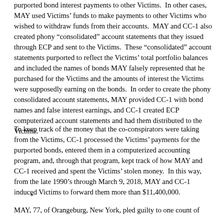purported bond interest payments to other Victims.  In other cases, MAY used Victims' funds to make payments to other Victims who wished to withdraw funds from their accounts.  MAY and CC-1 also created phony “consolidated” account statements that they issued through ECP and sent to the Victims.  These “consolidated” account statements purported to reflect the Victims’ total portfolio balances and included the names of bonds MAY falsely represented that he purchased for the Victims and the amounts of interest the Victims were supposedly earning on the bonds.  In order to create the phony consolidated account statements, MAY provided CC-1 with bond names and false interest earnings, and CC-1 created ECP computerized account statements and had them distributed to the Victims.
To keep track of the money that the co-conspirators were taking from the Victims, CC-1 processed the Victims’ payments for the purported bonds, entered them in a computerized accounting program, and, through that program, kept track of how MAY and CC-1 received and spent the Victims’ stolen money.  In this way, from the late 1990’s through March 9, 2018, MAY and CC-1 induced Victims to forward them more than $11,400,000.
* * *
MAY, 77, of Orangeburg, New York, pled guilty to one count of